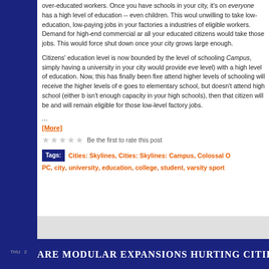over-educated workers. Once you have schools in your city, it's difficult for everyone has a high level of education -- even children. This would unwilling to take low-education, low-paying jobs in your factories a industries of eligible workers. Demand for high-end commercial ar all your educated citizens would take those jobs. This would force shut down once your city grows large enough.

Citizens' education level is now bounded by the level of schooling Campus, simply having a university in your city would provide eve level) with a high level of education. Now, this has finally been fixe attend higher levels of schooling will receive the higher levels of e goes to elementary school, but doesn't attend high school (either b isn't enough capacity in your high schools), then that citizen will be and will remain eligible for those low-level factory jobs.
...
[More]
Be the first to rate this post
Tags: Cities: Skylines, Cities: Skylines: Campus, Colossal Order, PC, city, university, education, college, student, varsity sports
Are Modular Expansions Hurting Cities: S...